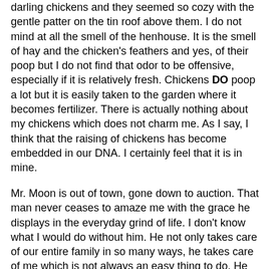darling chickens and they seemed so cozy with the gentle patter on the tin roof above them. I do not mind at all the smell of the henhouse. It is the smell of hay and the chicken's feathers and yes, of their poop but I do not find that odor to be offensive, especially if it is relatively fresh. Chickens DO poop a lot but it is easily taken to the garden where it becomes fertilizer. There is actually nothing about my chickens which does not charm me. As I say, I think that the raising of chickens has become embedded in our DNA. I certainly feel that it is in mine.
Mr. Moon is out of town, gone down to auction. That man never ceases to amaze me with the grace he displays in the everyday grind of life. I don't know what I would do without him. He not only takes care of our entire family in so many ways, he takes care of me which is not always an easy thing to do. He puts up with my crazy which, although it does not make an appearance as often as it used to, still shows up sometimes and does a little tap dance and takes a little bow. I admit it. And there, too, he displays grace. And he sticks around. He is my saving grace, that man. And as a girlfriend said on